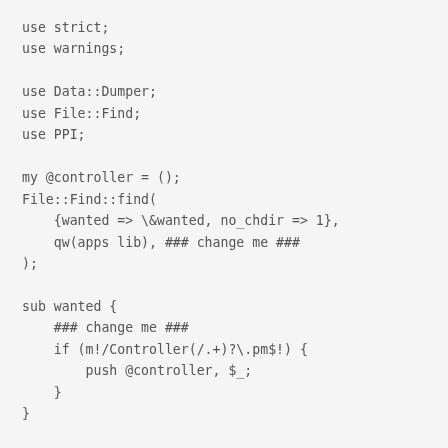use strict;
use warnings;

use Data::Dumper;
use File::Find;
use PPI;

my @controller = ();
File::Find::find(
    {wanted => \&wanted, no_chdir => 1},
    qw(apps lib), ### change me ###
);

sub wanted {
    ### change me ###
    if (m!/Controller(/.+)?\.pm$!) {
        push @controller, $_;
    }
}

my @subs = ();
foreach my $file (@controller) {
    my $doc = PPI::Document->new($file);

    my $subs = $doc->find('Statement::Sub');
    next unless $subs;